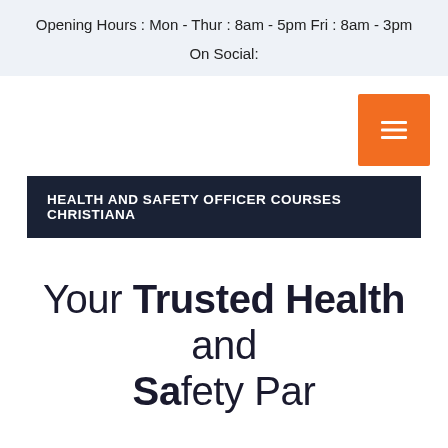Opening Hours : Mon - Thur : 8am - 5pm Fri : 8am - 3pm
On Social:
[Figure (other): Orange menu/hamburger button icon in top right of navigation area]
HEALTH AND SAFETY OFFICER COURSES CHRISTIANA
Your Trusted Health and Safety Partner